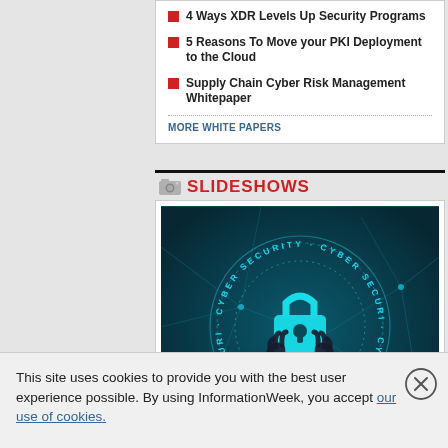4 Ways XDR Levels Up Security Programs
5 Reasons To Move your PKI Deployment to the Cloud
Supply Chain Cyber Risk Management Whitepaper
MORE WHITE PAPERS
SLIDESHOWS
[Figure (photo): Cyber security themed image showing a glowing teal padlock with hands rising from a dark background, surrounded by circular text reading CYBER SECURITY and network connection lines]
This site uses cookies to provide you with the best user experience possible. By using InformationWeek, you accept our use of cookies.